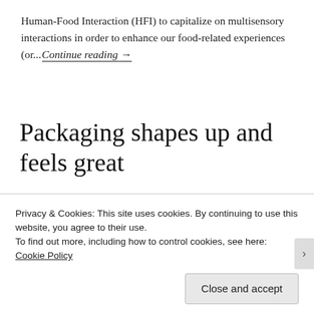Human-Food Interaction (HFI) to capitalize on multisensory interactions in order to enhance our food-related experiences (or... Continue reading →
Packaging shapes up and feels great
December 18, 2016
Privacy & Cookies: This site uses cookies. By continuing to use this website, you agree to their use.
To find out more, including how to control cookies, see here: Cookie Policy
Close and accept